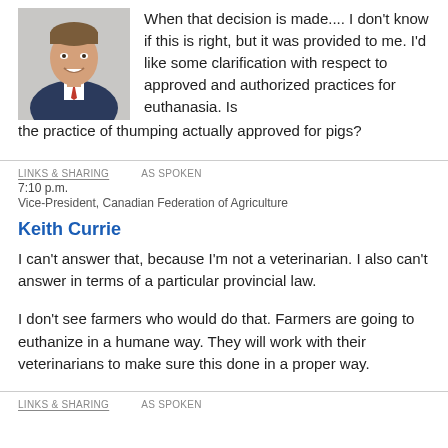[Figure (photo): Headshot photo of a man in a dark suit with a red tie, smiling, against a light background.]
When that decision is made.... I don't know if this is right, but it was provided to me. I'd like some clarification with respect to approved and authorized practices for euthanasia. Is the practice of thumping actually approved for pigs?
LINKS & SHARING    AS SPOKEN
7:10 p.m.
Vice-President, Canadian Federation of Agriculture
Keith Currie
I can't answer that, because I'm not a veterinarian. I also can't answer in terms of a particular provincial law.
I don't see farmers who would do that. Farmers are going to euthanize in a humane way. They will work with their veterinarians to make sure this done in a proper way.
LINKS & SHARING    AS SPOKEN